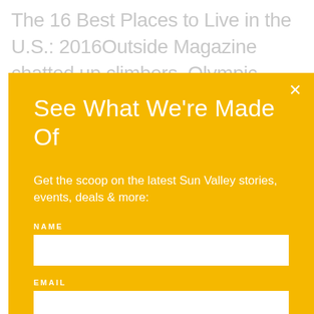The 16 Best Places to Live in the U.S.: 2016Outside Magazine chatted up climbers, Olympic mountain bikers, musicians, and award-winning chefs about what exactly makes their hometowns so special and
[Figure (screenshot): A modal popup with a yellow/golden background containing the title 'See What We're Made Of', a subtitle about Sun Valley stories, and form fields for NAME and EMAIL with white input boxes. A white X close button is in the top-right corner.]